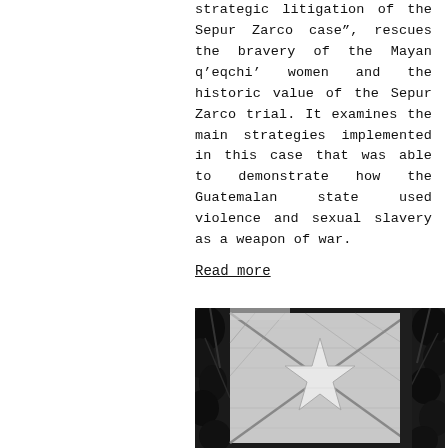strategic litigation of the Sepur Zarco case", rescues the bravery of the Mayan q’eqchi’ women and the historic value of the Sepur Zarco trial. It examines the main strategies implemented in this case that was able to demonstrate how the Guatemalan state used violence and sexual slavery as a weapon of war.
Read more
[Figure (photo): Black and white photograph showing a flag or cloth with a star emblem, surrounded by tree branches and foliage, in high-contrast grayscale.]